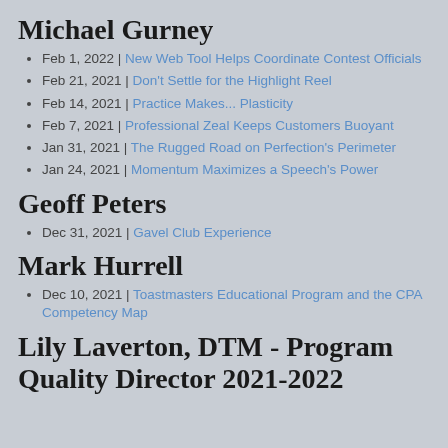Michael Gurney
Feb 1, 2022 | New Web Tool Helps Coordinate Contest Officials
Feb 21, 2021 | Don't Settle for the Highlight Reel
Feb 14, 2021 | Practice Makes... Plasticity
Feb 7, 2021 | Professional Zeal Keeps Customers Buoyant
Jan 31, 2021 | The Rugged Road on Perfection's Perimeter
Jan 24, 2021 | Momentum Maximizes a Speech's Power
Geoff Peters
Dec 31, 2021 | Gavel Club Experience
Mark Hurrell
Dec 10, 2021 | Toastmasters Educational Program and the CPA Competency Map
Lily Laverton, DTM - Program Quality Director 2021-2022